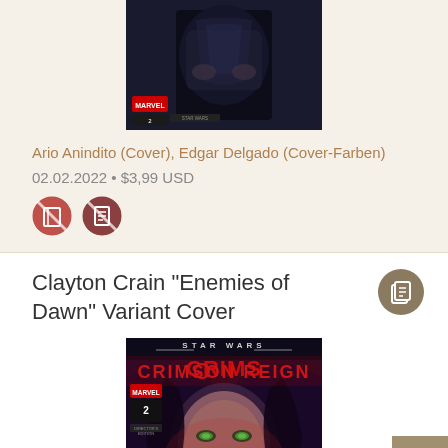[Figure (illustration): Marvel comic book cover showing a dark figure in shadows, issue #2]
Ario Anindito (Cover), Edgar Delgado (Cover-Farben)
02.02.2022 • $3,99 USD
[Figure (illustration): Two circular icons with crossed-out symbols in red/dark red]
Clayton Crain "Enemies of Dawn" Variant Cover
[Figure (illustration): Star Wars: Crimson Reign Marvel comic book cover issue #2, showing a dark-haired woman with glowing eyes against a dramatic background]